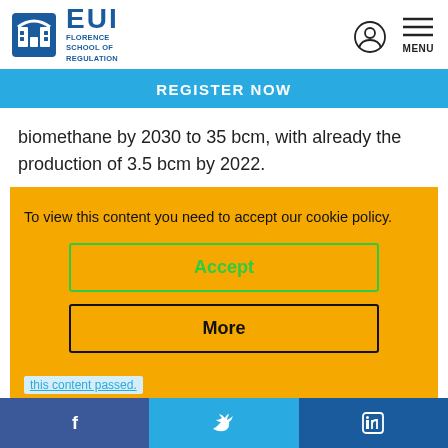EUI Florence School of Regulation
REGISTER NOW
biomethane by 2030 to 35 bcm, with already the production of 3.5 bcm by 2022.
To view this content you need to accept our cookie policy.
Accept
More
Facebook | Twitter | LinkedIn